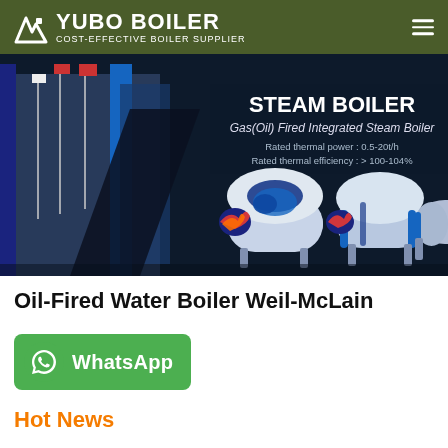YUBO BOILER COST-EFFECTIVE BOILER SUPPLIER
[Figure (photo): Banner image showing STEAM BOILER advertisement with Gas(Oil) Fired Integrated Steam Boiler, rated thermal power 0.5-20t/h, rated thermal efficiency >100-104%, with industrial boiler photos and building in background]
Oil-Fired Water Boiler Weil-McLain
[Figure (infographic): WhatsApp contact button in green with phone icon and WhatsApp text]
Hot News